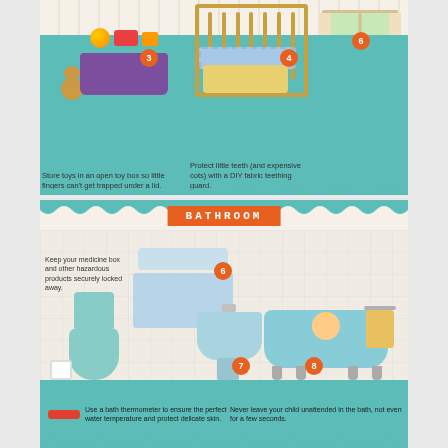[Figure (infographic): Baby nursery safety infographic showing a toy box with teddy bear, a crib, and a window. Number badges 3, 4, and 6 label the items. Text captions explain: store toys in an open toy box so little fingers can't get trapped under a lid; protect little teeth (and expensive cots) with a DIY fabric teething guard; keep cots away from windows.]
Store toys in an open toy box so little fingers can't get trapped under a lid.
Protect little teeth (and expensive cots) with a DIY fabric teething guard.
Keep cots away from windows
[Figure (infographic): Bathroom safety infographic with BATHROOM header. Shows toilet with toilet paper roll, medicine cabinet (labeled 6), sink (labeled 7), bathtub with baby (labeled 8), and towel rack. Text captions: Keep your medicine box and other hazardous products securely locked away; Use a bath thermometer to ensure the perfect water temperature and protect delicate skin; Never leave your child unattended in the bath, not even for a few seconds.]
Keep your medicine box and other hazardous products securely locked away.
Use a bath thermometer to ensure the perfect water temperature and protect delicate skin.
Never leave your child unattended in the bath, not even for a few seconds.